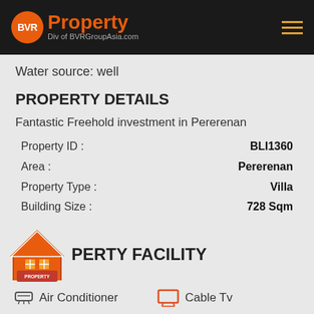[Figure (logo): BVR Property logo with orange circle BVR text, Property text in orange, Div of BVRGroupAsia.com subtitle, on dark header bar with hamburger menu icon]
Water source: well
PROPERTY DETAILS
Fantastic Freehold investment in Pererenan
| Property ID : | BLI1360 |
| Area : | Pererenan |
| Property Type : | Villa |
| Building Size : | 728 Sqm |
| Land Size : | 3400 Sqm |
| Price : | IDR   36,500,000,000 |
PROPERTY FACILITY
Air Conditioner
Cable Tv